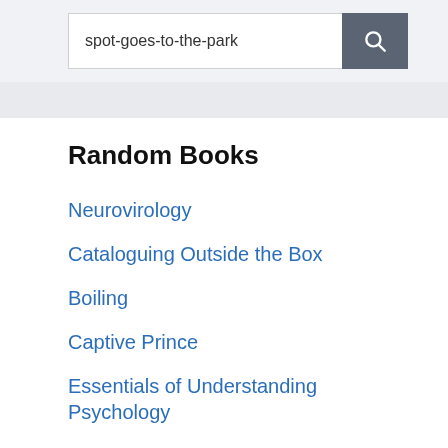[Figure (screenshot): Search input field with text 'spot-goes-to-the-park' and a dark gray search button with magnifying glass icon]
Random Books
Neurovirology
Cataloguing Outside the Box
Boiling
Captive Prince
Essentials of Understanding Psychology
Think and Eat Yourself Smart
Handbook of Developmental Neurotoxicology